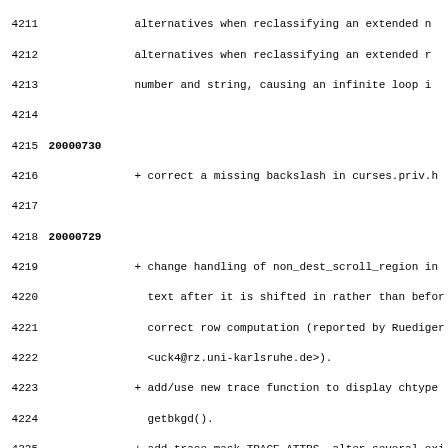4211 ... alternatives when reclassifying an extended number and string, causing an infinite loop ...
4215 20000730
4216     + correct a missing backslash in curses.priv.h
4218 20000729
4219     + change handling of non_dest_scroll_region in text after it is shifted in rather than before correct row computation (reported by Ruediger <uck4@rz.uni-karlsruhe.de>).
4223     + add/use new trace function to display chtype getbkgd().
4225     + add trace mask TRACE_ATTRS, alter several existing trace attribute changes under TRACE_CALLS to
4227     + modify MKlib_gen.sh so that functions returning returnChar().
4229     + add returnChar() trace, for functions returning
4230     + change indent.pro to line up parenthesis.
4232 20000722
4233     + fix a heap problem with the c++ binding (reported <alexander_liberson@ninewest.com>, patch by J
4235     + minor adjustment to ClrToEOL() to handle an o
4236     + modify the check for big-core to force a couple which may work as needed for older/less-capable there's still the explicit configure option).
4239     > fixes based on diff's for Amiga and BeOS found http://www.mathematik.uni-karlsruhe.de/~kuhlm
4241     + alter definition of NCURSES_CONST to make it
4242     + add amiga-vnc terminfo entry.
4243     + redefine 'TEXT' in menu.h for AMIGA, since it